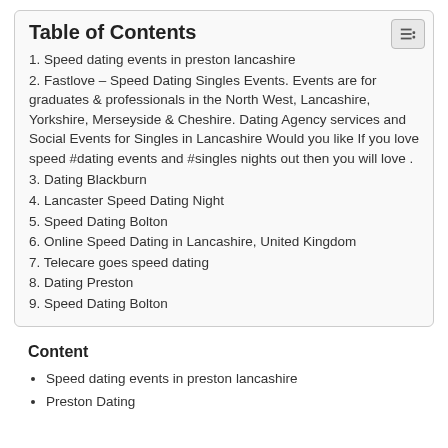Table of Contents
1. Speed dating events in preston lancashire
2. Fastlove – Speed Dating Singles Events. Events are for graduates & professionals in the North West, Lancashire, Yorkshire, Merseyside & Cheshire. Dating Agency services and Social Events for Singles in Lancashire Would you like If you love speed #dating events and #singles nights out then you will love .
3. Dating Blackburn
4. Lancaster Speed Dating Night
5. Speed Dating Bolton
6. Online Speed Dating in Lancashire, United Kingdom
7. Telecare goes speed dating
8. Dating Preston
9. Speed Dating Bolton
Content
Speed dating events in preston lancashire
Preston Dating